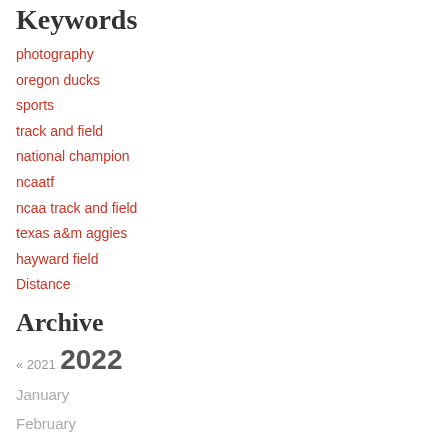Keywords
photography
oregon ducks
sports
track and field
national champion
ncaatf
ncaa track and field
texas a&m aggies
hayward field
Distance
Archive
« 2021  2022
January
February
March
April
May
June
July